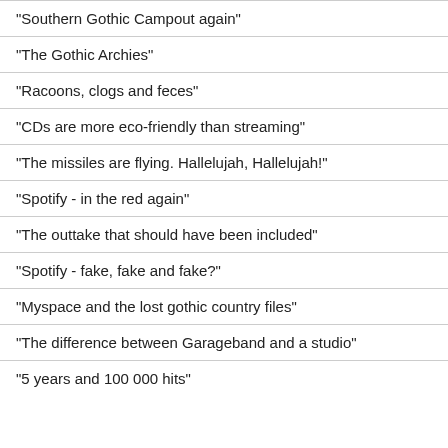"Southern Gothic Campout again"
"The Gothic Archies"
"Racoons, clogs and feces"
"CDs are more eco-friendly than streaming"
"The missiles are flying. Hallelujah, Hallelujah!"
"Spotify - in the red again"
"The outtake that should have been included"
"Spotify - fake, fake and fake?"
"Myspace and the lost gothic country files"
"The difference between Garageband and a studio"
"5 years and 100 000 hits"